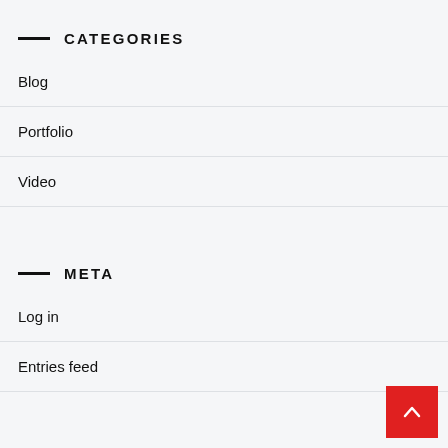CATEGORIES
Blog
Portfolio
Video
META
Log in
Entries feed
[Figure (illustration): Red back-to-top button with upward chevron arrow in bottom-right corner]